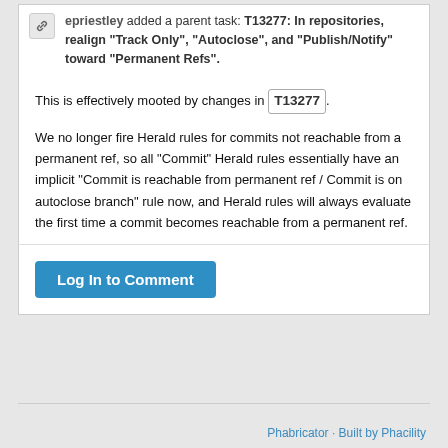epriestley added a parent task: T13277: In repositories, realign "Track Only", "Autoclose", and "Publish/Notify" toward "Permanent Refs".
This is effectively mooted by changes in T13277.
We no longer fire Herald rules for commits not reachable from a permanent ref, so all "Commit" Herald rules essentially have an implicit "Commit is reachable from permanent ref / Commit is on autoclose branch" rule now, and Herald rules will always evaluate the first time a commit becomes reachable from a permanent ref.
Log In to Comment
Phabricator · Built by Phacility